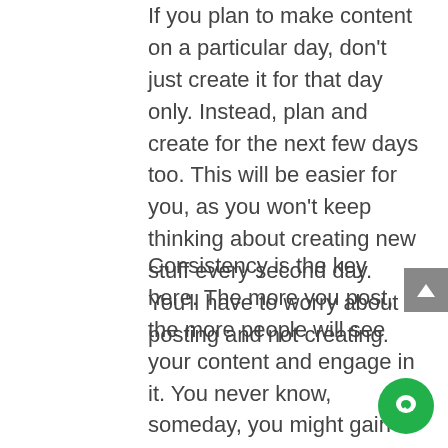If you plan to make content on a particular day, don't just create it for that day only. Instead, plan and create for the next few days too. This will be easier for you, as you won't keep thinking about creating new stuff every second day. You'll have to worry about posting and not creating.
Consistency is the key here. The more you post, the more people will see your content and engage in it. You never know, someday, you might gain a thousand followers in a night! Yes, it's no joke. There are many people out there, whether it's on Facebook or Instagram, or Tiktok, who have gained 10s, maybe 20 thousand followers in a single day. How? Just because they were consistent and their